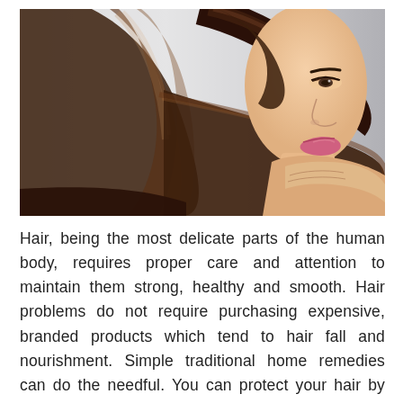[Figure (photo): A young woman with long, straight, shiny dark brown hair. She is looking down with eyes closed, smiling gently, with pink lipstick. She is holding/showing her long hair. Background is light grey/white. She appears bare-shouldered.]
Hair, being the most delicate parts of the human body, requires proper care and attention to maintain them strong, healthy and smooth. Hair problems do not require purchasing expensive, branded products which tend to hair fall and nourishment. Simple traditional home remedies can do the needful. You can protect your hair by wearing a scarf/shawl when you are left